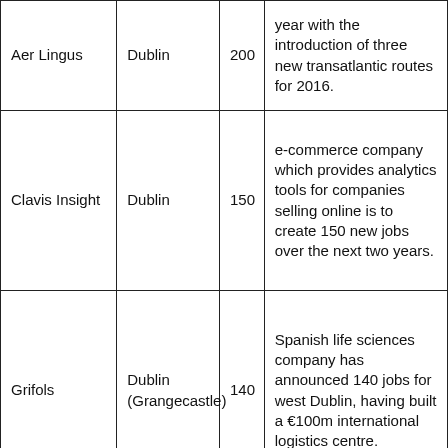| Aer Lingus | Dublin | 200 | year with the introduction of three new transatlantic routes for 2016. |
| Clavis Insight | Dublin | 150 | e-commerce company which provides analytics tools for companies selling online is to create 150 new jobs over the next two years. |
| Grifols | Dublin (Grangecastle) | 140 | Spanish life sciences company has announced 140 jobs for west Dublin, having built a €100m international logistics centre. |
|  |  |  | Company involved |